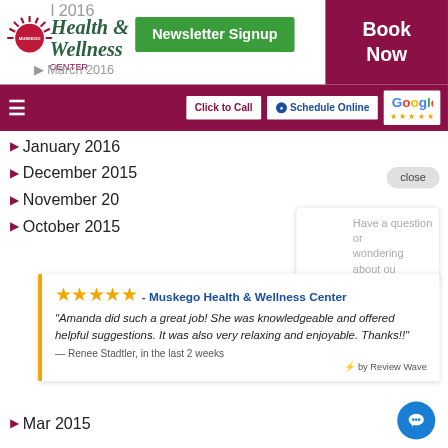[Figure (logo): Muskego Health & Wellness Center logo with sun rays icon]
Newsletter Signup
Book Now
[Figure (screenshot): Navigation bar with hamburger menu, Click to Call button, Schedule Online button, and Google reviews stars]
January 2016
December 2015
November 2015
October 2015
close
Have a question or wondering about ou
X
HAT
★★★★★ - Muskego Health & Wellness Center
"Amanda did such a great job! She was knowledgeable and offered helpful suggestions. It was also very relaxing and enjoyable. Thanks!!"
— Renee Stadtler, in the last 2 weeks
⚡ by Review Wave